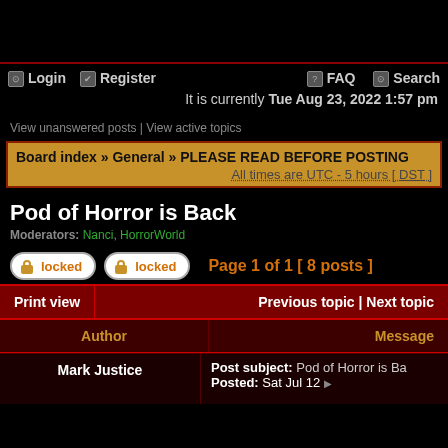Login   Register   FAQ   Search
It is currently Tue Aug 23, 2022 1:57 pm
View unanswered posts | View active topics
Board index » General » PLEASE READ BEFORE POSTING
All times are UTC - 5 hours [ DST ]
Pod of Horror is Back
Moderators: Nanci, HorrorWorld
locked   locked   Page 1 of 1  [ 8 posts ]
| Print view | Previous topic | Next topic |
| --- | --- |
| Author | Message |
| Mark Justice | Post subject: Pod of Horror is Ba...
Posted: Sat Jul 12... |